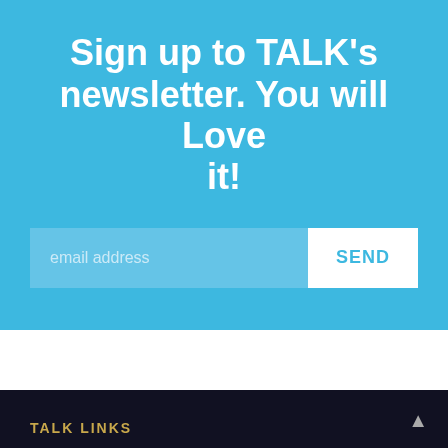Sign up to TALK’s newsletter. You will Love it!
email address
SEND
TALK LINKS
> Contact TALK English Schools
This website uses cookies to improve your experience, help us analyze site traffic, enable targeted advertisements and ensure that our content stays relevant to you. Learn more about how we use cookies by checking our Privacy Policy.
ACCEPT